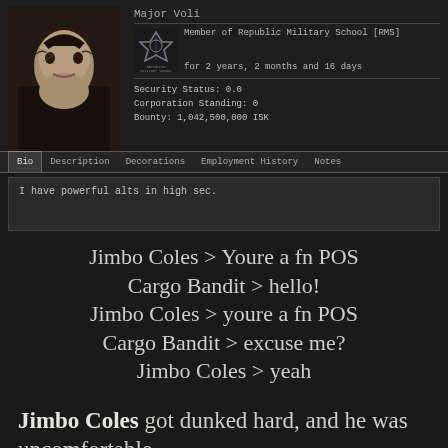Major Voli
Member of Republic Military School [RMS]
for 2 years, 2 months and 16 days
Security Status: 0.0
Corporation Standing: 0
Bounty: 1,042,500,000 ISK
Bio | Description | Decorations | Employment History | Notes
I have powerful alts in high sec.
Jimbo Coles > Youre a fn POS
Cargo Bandit > hello!
Jimbo Coles > youre a fn POS
Cargo Bandit > excuse me?
Jimbo Coles > yeah
Jimbo Coles got dunked hard, and he was uncomfortable.